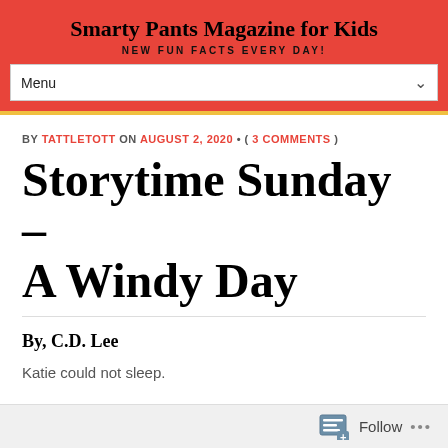Smarty Pants Magazine for Kids
NEW FUN FACTS EVERY DAY!
BY TATTLETOTT ON AUGUST 2, 2020 • ( 3 COMMENTS )
Storytime Sunday – A Windy Day
By, C.D. Lee
Katie could not sleep.
Follow ...